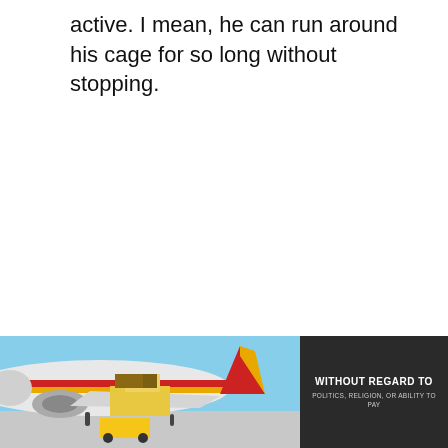active. I mean, he can run around his cage for so long without stopping.
[Figure (photo): Cargo being loaded onto an airplane on a tarmac, with red, yellow striped livery visible on the aircraft fuselage. An advertisement with dark background showing text 'WITHOUT REGARD TO POLITICS, RELIGION, OR ABILITY TO PAY' is overlaid on the right side.]